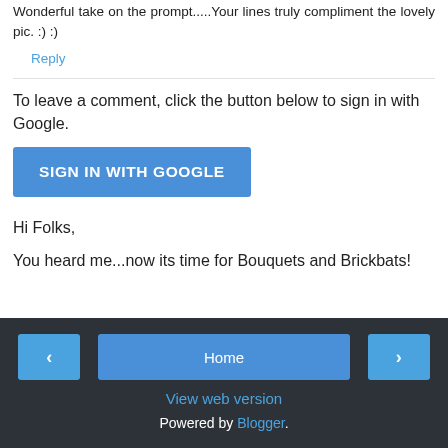Wonderful take on the prompt.....Your lines truly compliment the lovely pic. :) :)
Reply
To leave a comment, click the button below to sign in with Google.
SIGN IN WITH GOOGLE
Hi Folks,
You heard me...now its time for Bouquets and Brickbats!
Home | View web version | Powered by Blogger.